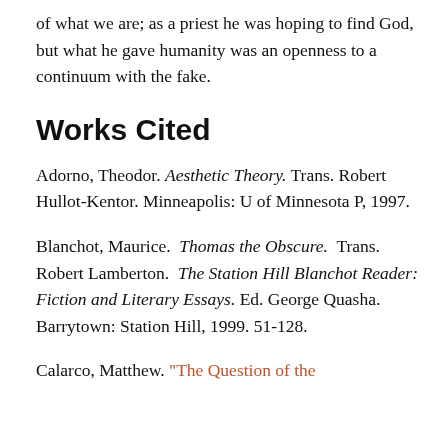of what we are; as a priest he was hoping to find God, but what he gave humanity was an openness to a continuum with the fake.
Works Cited
Adorno, Theodor. Aesthetic Theory. Trans. Robert Hullot-Kentor. Minneapolis: U of Minnesota P, 1997.
Blanchot, Maurice. Thomas the Obscure. Trans. Robert Lamberton. The Station Hill Blanchot Reader: Fiction and Literary Essays. Ed. George Quasha. Barrytown: Station Hill, 1999. 51-128.
Calarco, Matthew. "The Question of the